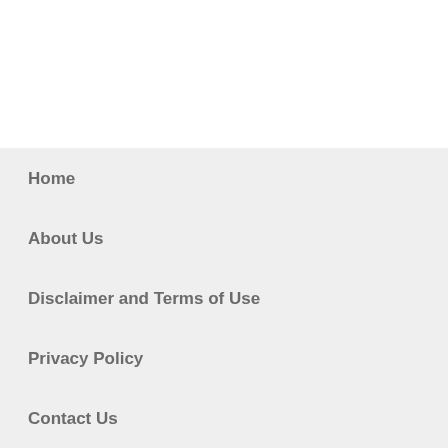Home
About Us
Disclaimer and Terms of Use
Privacy Policy
Contact Us
Advertise